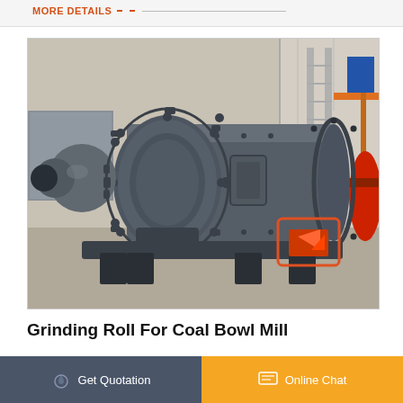MORE DETAILS
[Figure (photo): Large industrial ball mill / grinding mill machine in a factory warehouse. The machine is a large dark grey cylindrical tube with bolted flanges and end caps, mounted on a base frame. The inlet/outlet nozzle is on the left side. The background shows a factory interior with steel structures and cranes.]
Grinding Roll For Coal Bowl Mill
Get Quotation   Online Chat